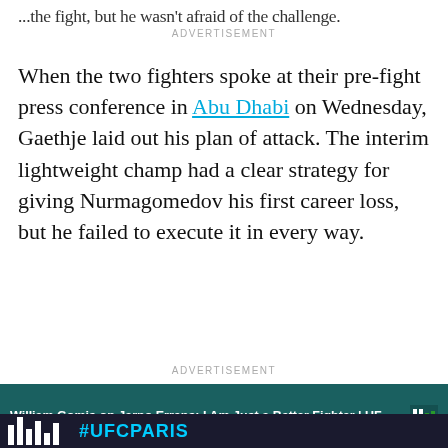...the fight, but he wasn't afraid of the challenge.
ADVERTISEMENT
When the two fighters spoke at their pre-fight press conference in Abu Dhabi on Wednesday, Gaethje laid out his plan of attack. The interim lightweight champ had a clear strategy for giving Nurmagomedov his first career loss, but he failed to execute it in every way.
ADVERTISEMENT
William Gomis on Jarno Errens: I Am Just a Better Fighter | UFC ...
#UFCPARIS